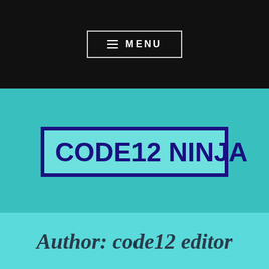≡ MENU
CODE12 NINJA
Author: code12 editor